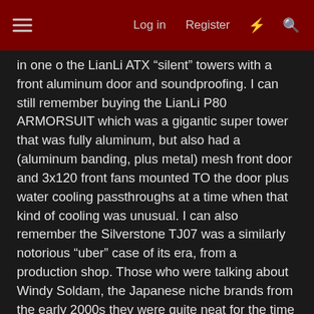Log in | Register
in one o the LianLi ATX "silent" towers with a front aluminum door and soundproofing. I can still remember buying the LianLi P80 ARMORSUIT which was a gigantic super tower that was fully aluminum, but also had a (aluminum banding, plus metal) mesh front door and 3x120 front fans mounted TO the door plus water cooling passthroughs at a time when that kind of cooling was unusual. I can also remember the Silverstone TJ07 was a similarly notorious "uber" case of its era, from a production shop. Those who were talking about Windy Soldam, the Japanese niche brands from the early 2000s they were quite neat for the time and often packed a lot of cooling and feature potential into relatively small spaces, but were ultra-expensive to import as they weren't sold in the West. I also would later buy from Corsair, which their early Obsidian cases were noteworthy for having aluminum front/external panels (though the structure internally may have been SECC) ; I also had to give them credit for offering UPGRADES for the 800D - USB 2.0 front panels and SATA 3.0gbps backplanes were replaced with USB 3.0 and SATA 6.0gbps for a modest upgrade kit: its a